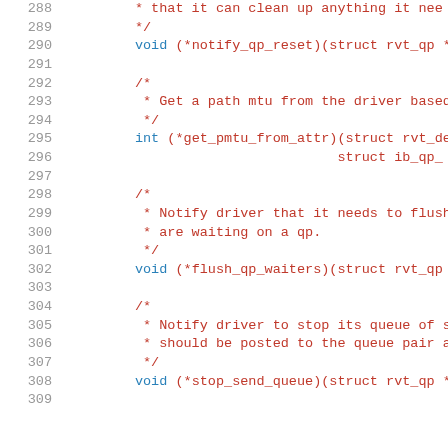[Figure (screenshot): Source code listing showing C struct function pointer declarations with line numbers 288-309, with comments and code in a monospace font. Line numbers in gray, comments in red/brown, keywords in blue.]